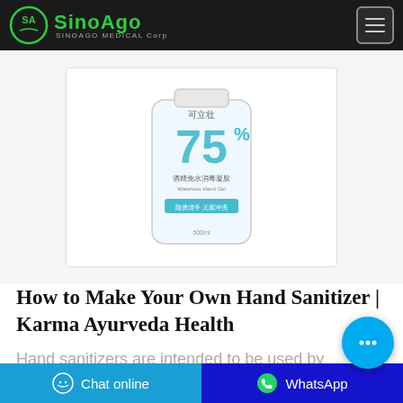SinoAgo SINOAGO MEDICAL Corp
[Figure (photo): A bottle of 75% alcohol hand sanitizer gel with Chinese text labeling, clear/transparent bottle, shown against white background]
How to Make Your Own Hand Sanitizer | Karma Ayurveda Health
Hand sanitizers are intended to be used by healthcare professionals. If you
Chat online    WhatsApp